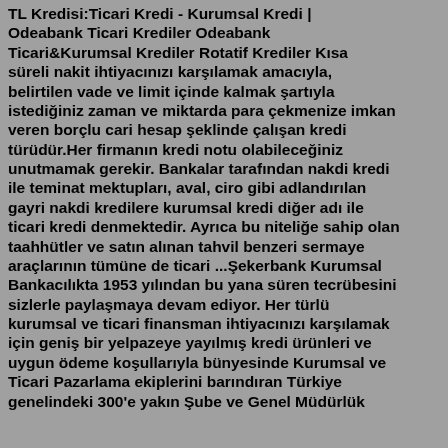TL Kredisi:Ticari Kredi - Kurumsal Kredi | Odeabank Ticari Krediler Odeabank Ticari&Kurumsal Krediler Rotatif Krediler Kısa süreli nakit ihtiyacınızı karşılamak amacıyla, belirtilen vade ve limit içinde kalmak şartıyla istediğiniz zaman ve miktarda para çekmenize imkan veren borçlu cari hesap şeklinde çalışan kredi türüdür.Her firmanın kredi notu olabileceğiniz unutmamak gerekir. Bankalar tarafından nakdi kredi ile teminat mektupları, aval, ciro gibi adlandırılan gayri nakdi kredilere kurumsal kredi diğer adı ile ticari kredi denmektedir. Ayrıca bu niteliğe sahip olan taahhütler ve satın alınan tahvil benzeri sermaye araçlarının tümüne de ticari ...Şekerbank Kurumsal Bankacılıkta 1953 yılından bu yana süren tecrübesini sizlerle paylaşmaya devam ediyor. Her türlü kurumsal ve ticari finansman ihtiyacınızı karşılamak için geniş bir yelpazeye yayılmış kredi ürünleri ve uygun ödeme koşullarıyla bünyesinde Kurumsal ve Ticari Pazarlama ekiplerini barındıran Türkiye genelindeki 300'e yakın Şube ve Genel Müdürlük